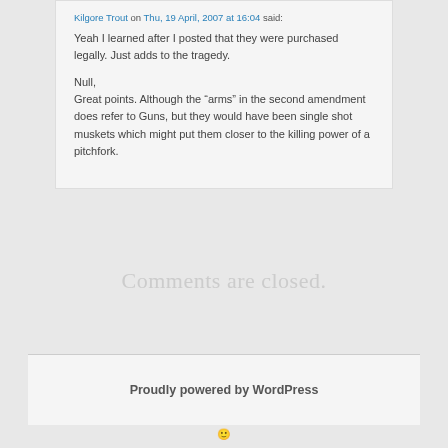Kilgore Trout on Thu, 19 April, 2007 at 16:04 said:
Yeah I learned after I posted that they were purchased legally. Just adds to the tragedy.

Null,
Great points. Although the “arms” in the second amendment does refer to Guns, but they would have been single shot muskets which might put them closer to the killing power of a pitchfork.
Comments are closed.
Proudly powered by WordPress